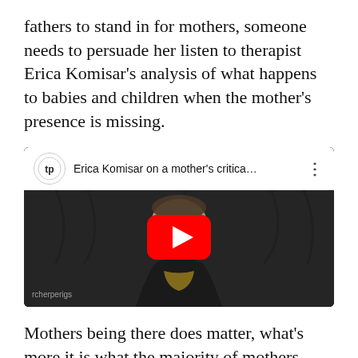fathers to stand in for mothers, someone needs to persuade her listen to therapist Erica Komisar's analysis of what happens to babies and children when the mother's presence is missing.
[Figure (screenshot): YouTube video thumbnail showing Erica Komisar speaking, with video title 'Erica Komisar on a mother's critica...' and a YouTube play button overlay. Channel logo shows 'tp'.]
Mothers being there does matter, what's more it is what the majority of mothers want for the